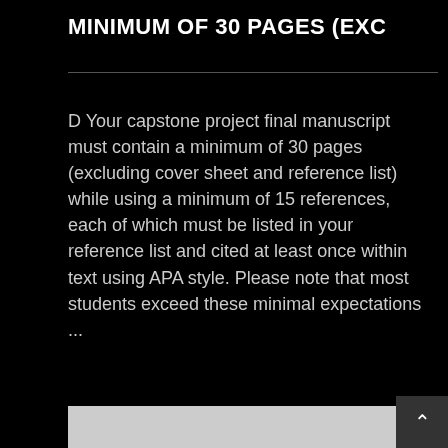MINIMUM OF 30 PAGES (EXC
D Your capstone project final manuscript must contain a minimum of 30 pages (excluding cover sheet and reference list) while using a minimum of 15 references, each of which must be listed in your reference list and cited at least once within text using APA style. Please note that most students exceed these minimal expectations ...
READ MORE